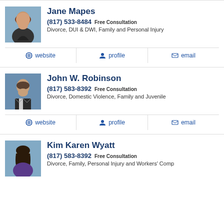[Figure (photo): Headshot photo of Jane Mapes, a woman with reddish-brown hair, smiling]
Jane Mapes
(817) 533-8484 Free Consultation
Divorce, DUI & DWI, Family and Personal Injury
website
profile
email
[Figure (photo): Headshot photo of John W. Robinson, a man in a suit, smiling]
John W. Robinson
(817) 583-8392 Free Consultation
Divorce, Domestic Violence, Family and Juvenile
website
profile
email
[Figure (photo): Headshot photo of Kim Karen Wyatt, a woman with dark hair, smiling]
Kim Karen Wyatt
(817) 583-8392 Free Consultation
Divorce, Family, Personal Injury and Workers' Comp